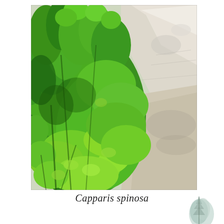[Figure (photo): Photograph of Capparis spinosa (caper plant) growing along rocky terrain. The plant shows dense green rounded leaves spreading over white/grey rocky substrate and sandy ground. Bright sunlit green foliage contrasts with pale limestone rocks.]
Capparis spinosa
[Figure (photo): Small partial photograph of a plant (likely a conifer or similar) visible in the lower right corner of the page.]